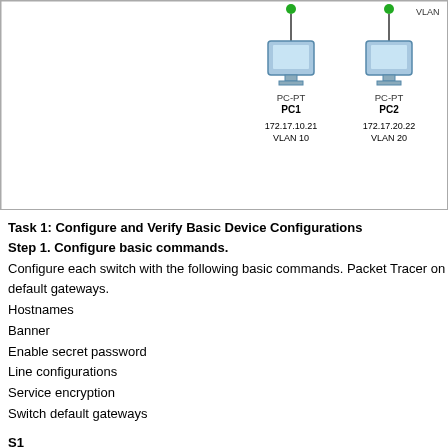[Figure (network-graph): Network diagram showing PC1 (172.17.10.21, VLAN 10) and PC2 (172.17.20.22, VLAN 20) connected via switches with green link indicators. VLAN label visible at top right.]
Task 1: Configure and Verify Basic Device Configurations
Step 1. Configure basic commands.
Configure each switch with the following basic commands. Packet Tracer only supports switch default gateways.
Hostnames
Banner
Enable secret password
Line configurations
Service encryption
Switch default gateways
S1
Switch>en
Switch#conf t
Enter configuration commands, one per line.  End with CN
Switch(config)#hostname S1
S1(config)#banner motd #Welcome Authorized Users Unautho
S1(config)#enable secret class